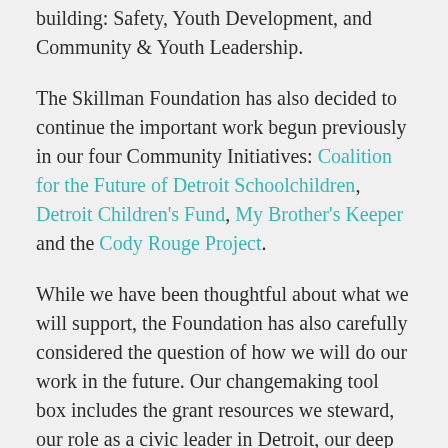building: Safety, Youth Development, and Community & Youth Leadership.
The Skillman Foundation has also decided to continue the important work begun previously in our four Community Initiatives: Coalition for the Future of Detroit Schoolchildren, Detroit Children's Fund, My Brother's Keeper and the Cody Rouge Project.
While we have been thoughtful about what we will support, the Foundation has also carefully considered the question of how we will do our work in the future. Our changemaking tool box includes the grant resources we steward, our role as a civic leader in Detroit, our deep understanding of the needs of kids and families, and the relationships we enjoy with those who care deeply for Detroit's